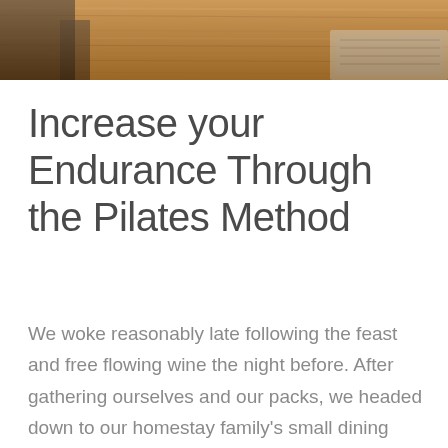[Figure (photo): Partial view of a room interior with wooden flooring, a dark chair or furniture piece on the left, and a patterned rug on the right. The image is cropped showing only the bottom portion.]
Increase your Endurance Through the Pilates Method
We woke reasonably late following the feast and free flowing wine the night before. After gathering ourselves and our packs, we headed down to our homestay family's small dining room for breakfast.